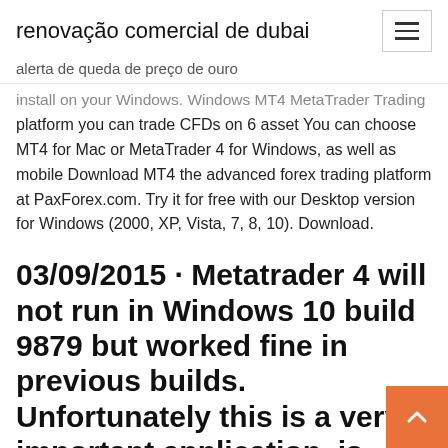renovação comercial de dubai
alerta de queda de preço de ouro
install on your Windows. Windows MT4 MetaTrader Trading platform you can trade CFDs on 6 asset You can choose MT4 for Mac or MetaTrader 4 for Windows, as well as mobile Download MT4 the advanced forex trading platform at PaxForex.com. Try it for free with our Desktop version for Windows (2000, XP, Vista, 7, 8, 10). Download.
03/09/2015 · Metatrader 4 will not run in Windows 10 build 9879 but worked fine in previous builds. Unfortunately this is a very important application, is the…